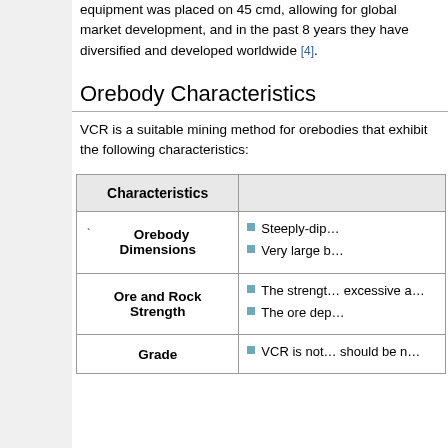equipment was placed on 45 cmd, allowing for global market development, and in the past 8 years they have diversified and developed worldwide [4].
Orebody Characteristics
VCR is a suitable mining method for orebodies that exhibit the following characteristics:
| Characteristics |  |
| --- | --- |
| Orebody Dimensions | Steeply-dip…
Very large b… |
| Ore and Rock Strength | The strength… excessive a…
The ore dep… |
| Grade | VCR is not… should be n… |